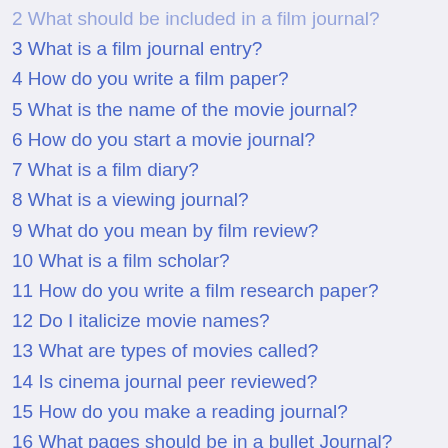2 What should be included in a film journal?
3 What is a film journal entry?
4 How do you write a film paper?
5 What is the name of the movie journal?
6 How do you start a movie journal?
7 What is a film diary?
8 What is a viewing journal?
9 What do you mean by film review?
10 What is a film scholar?
11 How do you write a film research paper?
12 Do I italicize movie names?
13 What are types of movies called?
14 Is cinema journal peer reviewed?
15 How do you make a reading journal?
16 What pages should be in a bullet Journal?
17 Is there an app to keep track of movies you've seen?
18 How much do TV critics make?
19 Who is the best film critic?
20 How do you write a film analysis?
21 How do you become a film scholar?